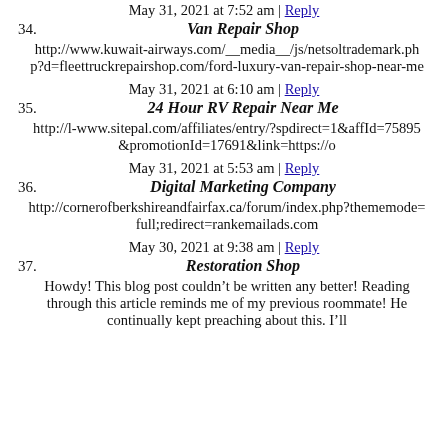May 31, 2021 at 7:52 am | Reply
34. Van Repair Shop
http://www.kuwait-airways.com/__media__/js/netsoltrademark.php?d=fleettruckrepairshop.com/ford-luxury-van-repair-shop-near-me
May 31, 2021 at 6:10 am | Reply
35. 24 Hour RV Repair Near Me
http://l-www.sitepal.com/affiliates/entry/?spdirect=1&affId=75895&promotionId=17691&link=https://o
May 31, 2021 at 5:53 am | Reply
36. Digital Marketing Company
http://cornerofberkshireandfairfax.ca/forum/index.php?thememode=full;redirect=rankemailads.com
May 30, 2021 at 9:38 am | Reply
37. Restoration Shop
Howdy! This blog post couldn’t be written any better! Reading through this article reminds me of my previous roommate! He continually kept preaching about this. I’ll